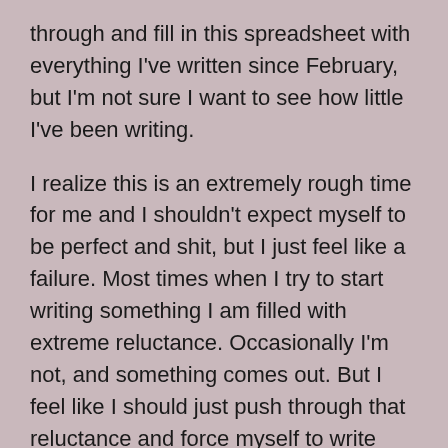through and fill in this spreadsheet with everything I've written since February, but I'm not sure I want to see how little I've been writing.
I realize this is an extremely rough time for me and I shouldn't expect myself to be perfect and shit, but I just feel like a failure. Most times when I try to start writing something I am filled with extreme reluctance. Occasionally I'm not, and something comes out. But I feel like I should just push through that reluctance and force myself to write things, and that because I'm not, I'm weak and lazy.